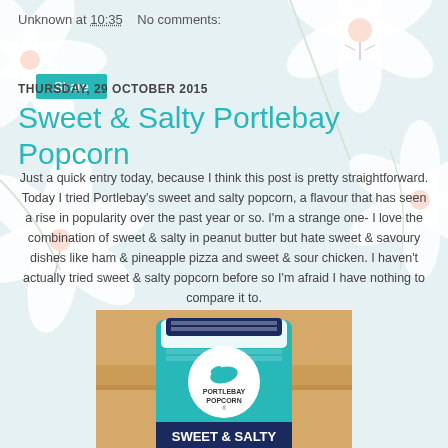Unknown at 10:35    No comments:
Share
THURSDAY, 29 OCTOBER 2015
Sweet & Salty Portlebay Popcorn
Just a quick entry today, because I think this post is pretty straightforward. Today I tried Portlebay's sweet and salty popcorn, a flavour that has seen a rise in popularity over the past year or so. I'm a strange one- I love the combination of sweet & salty in peanut butter but hate sweet & savoury dishes like ham & pineapple pizza and sweet & sour chicken. I haven't actually tried sweet & salty popcorn before so I'm afraid I have nothing to compare it to.
[Figure (photo): A bag of Portlebay Popcorn Sweet & Salty flavour on a wooden surface]